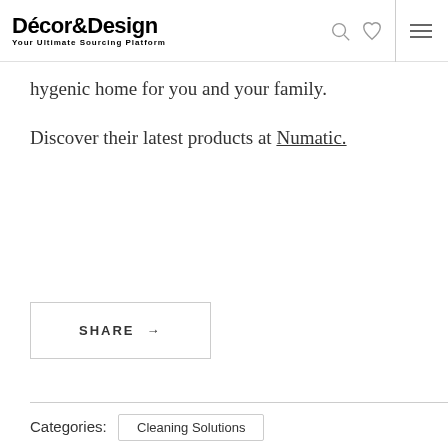Décor&Design — Your Ultimate Sourcing Platform
hygenic home for you and your family.
Discover their latest products at Numatic.
SHARE →
Categories: Cleaning Solutions
Tags: cleaning   marcia loves it   Numatic   organisation   SA Decor and Design Buyers Guide